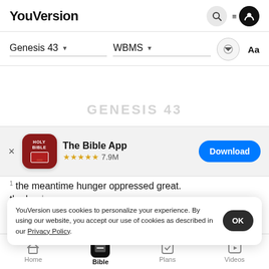YouVersion
Genesis 43  WBMS  Aa
GENESIS 43
[Figure (screenshot): App download banner for The Bible App with Holy Bible icon, 5 stars, 7.9M ratings, and Download button]
the meantime hunger oppressed great
the land
2 and when the meats were wasted of
YouVersion uses cookies to personalize your experience. By using our website, you accept our use of cookies as described in our Privacy Policy.
Home  Bible  Plans  Videos